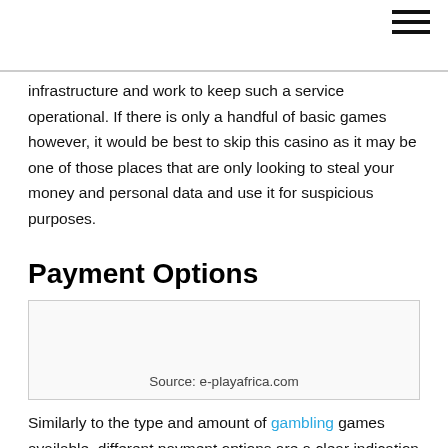[Figure (other): Hamburger menu icon with three horizontal lines in the top right corner]
infrastructure and work to keep such a service operational. If there is only a handful of basic games however, it would be best to skip this casino as it may be one of those places that are only looking to steal your money and personal data and use it for suspicious purposes.
Payment Options
[Figure (other): Image placeholder box with caption 'Source: e-playafrica.com']
Source: e-playafrica.com
Similarly to the type and amount of gambling games available, different payment options are a clear indication into the seriousness and safety of the casino at hand. Best of the best in the industry have various ways in which players can both